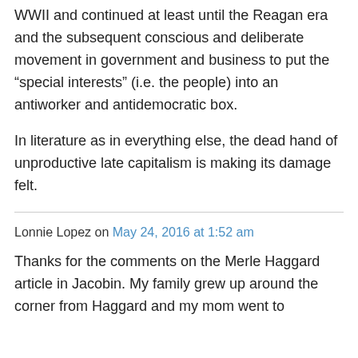WWII and continued at least until the Reagan era and the subsequent conscious and deliberate movement in government and business to put the “special interests” (i.e. the people) into an antiworker and antidemocratic box.
In literature as in everything else, the dead hand of unproductive late capitalism is making its damage felt.
Lonnie Lopez on May 24, 2016 at 1:52 am
Thanks for the comments on the Merle Haggard article in Jacobin. My family grew up around the corner from Haggard and my mom went to